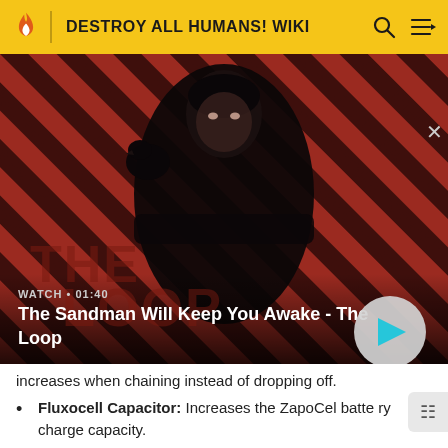DESTROY ALL HUMANS! WIKI
[Figure (screenshot): Video thumbnail showing a dark-cloaked figure with a raven on shoulder against a red and black diagonal striped background. Text overlay: WATCH • 01:40, The Sandman Will Keep You Awake - The Loop. Play button visible at bottom right.]
increases when chaining instead of dropping off.
Fluxocell Capacitor: Increases the ZapoCel battery charge capacity.
Fluxocell Accumulator: Greatly increases the ZapoCel battery charge capacity.